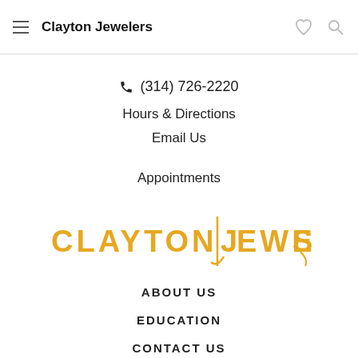Clayton Jewelers
📞 (314) 726-2220
Hours & Directions
Email Us
Appointments
[Figure (logo): Clayton Jewelers logo in gold/yellow text]
ABOUT US
EDUCATION
CONTACT US